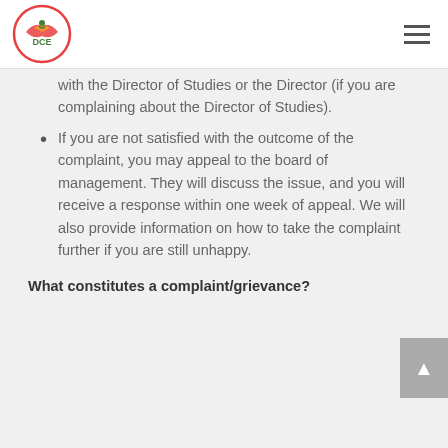DCE logo and navigation menu
with the Director of Studies or the Director (if you are complaining about the Director of Studies).
If you are not satisfied with the outcome of the complaint, you may appeal to the board of management. They will discuss the issue, and you will receive a response within one week of appeal. We will also provide information on how to take the complaint further if you are still unhappy.
What constitutes a complaint/grievance?